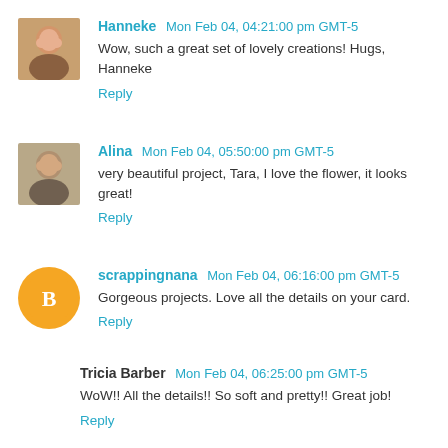Hanneke Mon Feb 04, 04:21:00 pm GMT-5
Wow, such a great set of lovely creations! Hugs, Hanneke
Reply
Alina Mon Feb 04, 05:50:00 pm GMT-5
very beautiful project, Tara, I love the flower, it looks great!
Reply
scrappingnana Mon Feb 04, 06:16:00 pm GMT-5
Gorgeous projects. Love all the details on your card.
Reply
Tricia Barber Mon Feb 04, 06:25:00 pm GMT-5
WoW!! All the details!! So soft and pretty!! Great job!
Reply